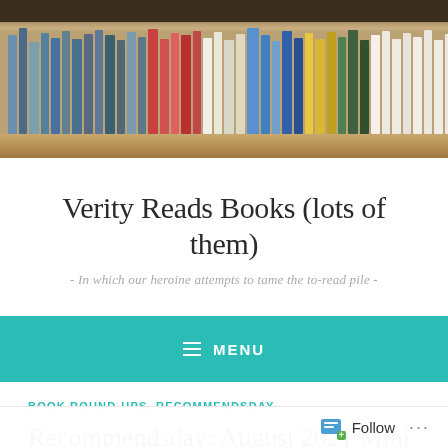[Figure (photo): A bookshelf filled with rows of books, viewed from the front. Books of various colors and sizes are tightly packed on a wooden shelf with a dark frame above.]
Verity Reads Books (lots of them)
- In which our heroine attempts to tame the to-read pile -
MENU
BOOK ROUND-UPS, RECOMMENDSDAY
Recommendsday: August 2021 Mini Reviews